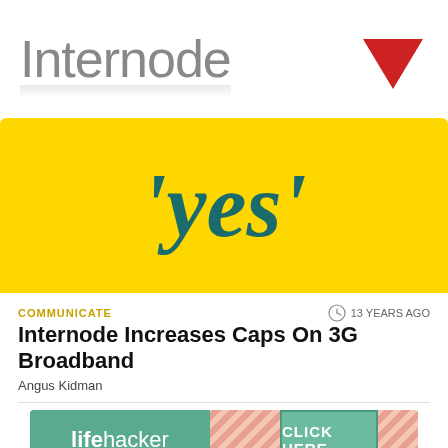[Figure (logo): Internode company logo with grey text and a red downward-pointing arrow/chevron on the right]
[Figure (logo): Yellow banner with cursive teal text reading 'yes' in italic style]
COMMUNICATE
13 YEARS AGO
Internode Increases Caps On 3G Broadband
Angus Kidman
[Figure (logo): Lifehacker advertisement banner with green background, diagonal stripe pattern, and CLICK HERE button]